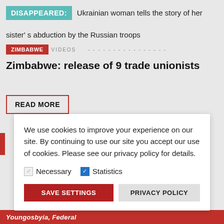DISAPPEARED: Ukrainian woman tells the story of her sister's abduction by the Russian troops
Zimbabwe: release of 9 trade unionists
READ MORE
We use cookies to improve your experience on our site. By continuing to use our site you accept our use of cookies. Please see our privacy policy for details.
Necessary  Statistics
SAVE SETTINGS  PRIVACY POLICY
Youngosbyia, Federal